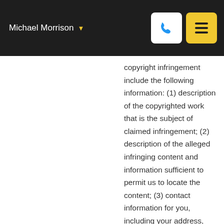Michael Morrison
copyright infringement include the following information: (1) description of the copyrighted work that is the subject of claimed infringement; (2) description of the alleged infringing content and information sufficient to permit us to locate the content; (3) contact information for you, including your address, telephone number and email address; (4) a statement by you that you have a good